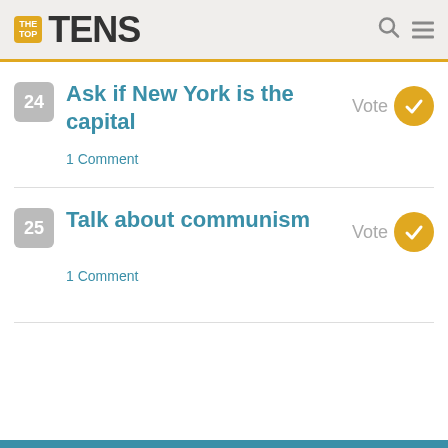THE TOP TENS
24 Ask if New York is the capital — Vote — 1 Comment
25 Talk about communism — Vote — 1 Comment